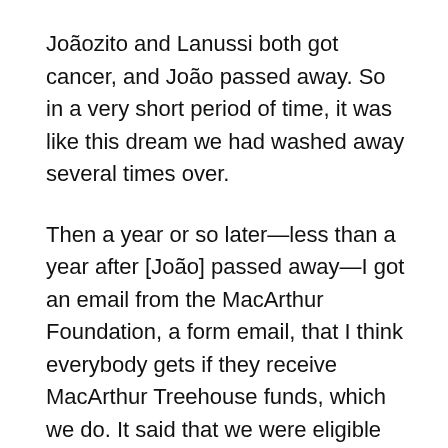Joãozito and Lanussi both got cancer, and João passed away. So in a very short period of time, it was like this dream we had washed away several times over.
Then a year or so later—less than a year after [João] passed away—I got an email from the MacArthur Foundation, a form email, that I think everybody gets if they receive MacArthur Treehouse funds, which we do. It said that we were eligible for this grant, and the application was due in ten days. I didn't want to leave any money on the table, so I talked to my board chair and said I thought we should apply for it. There was no time to have any meetings or